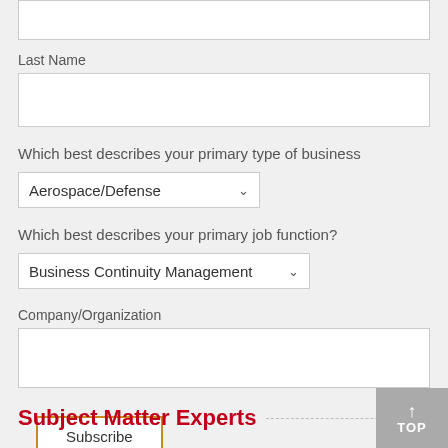(input box top — partial, cropped at top)
Last Name
Which best describes your primary type of business
Aerospace/Defense
Which best describes your primary job function?
Business Continuity Management
Company/Organization
Subscribe
Subject Matter Experts